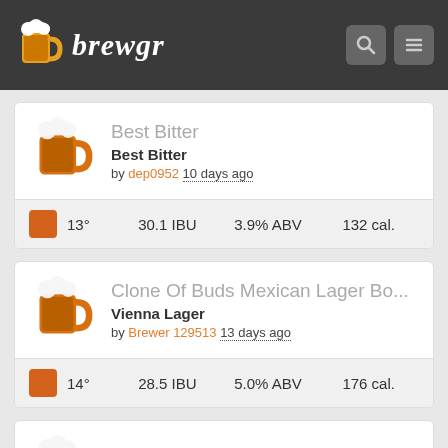brewgr
Best Bitter
Best Bitter
by dep0952 10 days ago
13° 30.1 IBU 3.9% ABV 132 cal.
Clone Of Buds Mexican Lager Bo...
Vienna Lager
by Brewer 129513 13 days ago
14° 28.5 IBU 5.0% ABV 176 cal.
Mr. Brew Irish Red Ale 200 lts
Irish Red Ale